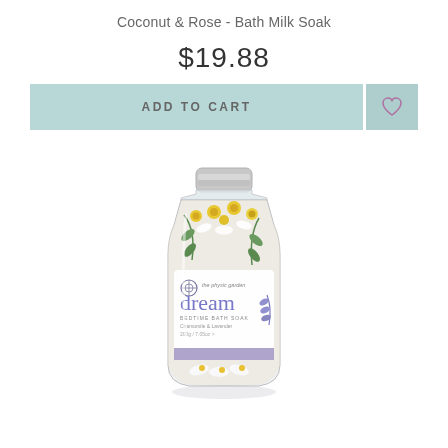Coconut & Rose - Bath Milk Soak
$19.88
ADD TO CART
[Figure (photo): Clear flat glass bottle with silver screw cap filled with dried flowers and herbs. The label reads 'the physic garden dream - bedtime bath soak - Chamomile & Lavender - 200g / 7.05oz']